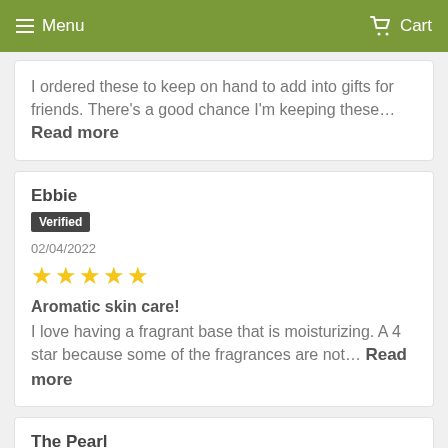Menu  Cart
I ordered these to keep on hand to add into gifts for friends. There's a good chance I'm keeping these… Read more
Ebbie
Verified
02/04/2022
★★★★★
Aromatic skin care!
I love having a fragrant base that is moisturizing. A 4 star because some of the fragrances are not… Read more
The Pearl
Verified
01/13/2022